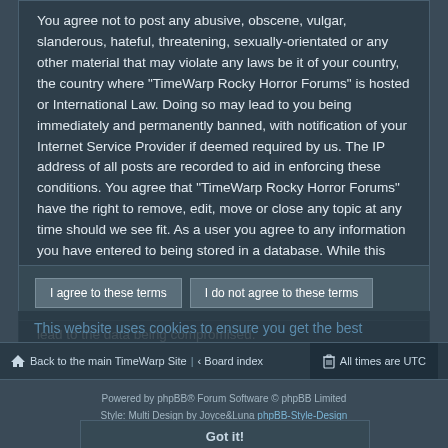You agree not to post any abusive, obscene, vulgar, slanderous, hateful, threatening, sexually-orientated or any other material that may violate any laws be it of your country, the country where "TimeWarp Rocky Horror Forums" is hosted or International Law. Doing so may lead to you being immediately and permanently banned, with notification of your Internet Service Provider if deemed required by us. The IP address of all posts are recorded to aid in enforcing these conditions. You agree that "TimeWarp Rocky Horror Forums" have the right to remove, edit, move or close any topic at any time should we see fit. As a user you agree to any information you have entered to being stored in a database. While this information will not be disclosed to any third party without your consent, neither "TimeWarp Rocky Horror Forums" nor phpBB shall be held responsible for any hacking attempt that may lead to the data being compromised.
I agree to these terms | I do not agree to these terms
This website uses cookies to ensure you get the best experience on our website. Learn more
Back to the main TimeWarp Site | Board index | All times are UTC
Powered by phpBB® Forum Software © phpBB Limited
Style: Multi Design by Joyce&Luna phpBB-Style-Design
Privacy | Terms
Got it!